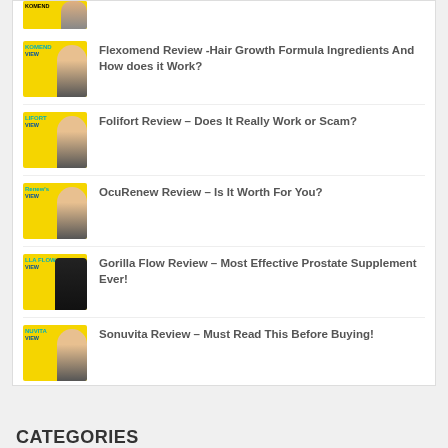[Figure (illustration): Partial thumbnail of a supplement review product image (cropped at top)]
Flexomend Review -Hair Growth Formula Ingredients And How does it Work?
Folifort Review – Does It Really Work or Scam?
OcuRenew Review – Is It Worth For You?
Gorilla Flow Review – Most Effective Prostate Supplement Ever!
Sonuvita Review – Must Read This Before Buying!
CATEGORIES